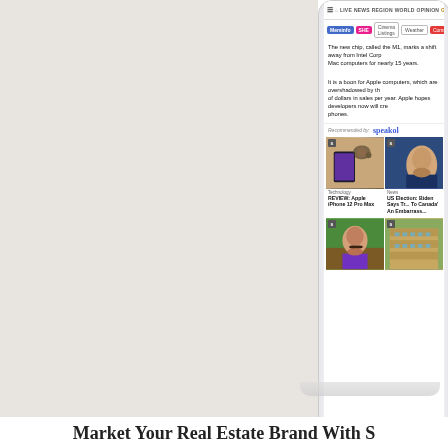[Figure (screenshot): Tablet device showing a news website with navigation bar, article text about Apple M1 chip, Speakol recommended content with thumbnail images including Apple iPhone 12 Pro Max review, US Election Biden article, a man's portrait, and a building exterior.]
The new chip, called the M1, marks a shift away from Intel Corp... Mac computers for nearly 15 years.
It is a boon for Apple computers, which are overshadowed by th... of dollars in sales per year. Apple hopes developers now will cre... phones.
Recommended by: speakol
[Figure (photo): Phone on table - Apple iPhone 12 Pro Max]
[Figure (photo): Biden - US Election photo]
[Figure (photo): Man with mustache in purple shirt outdoors]
[Figure (photo): Apartment building exterior]
Market Your Real Estate Brand With S